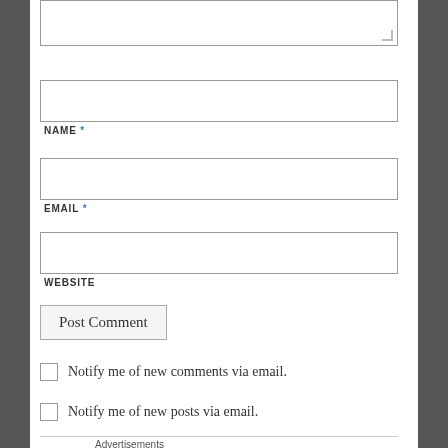[Figure (screenshot): Textarea input box with resize handle at top of form]
NAME *
EMAIL *
WEBSITE
Post Comment
Notify me of new comments via email.
Notify me of new posts via email.
Advertisements